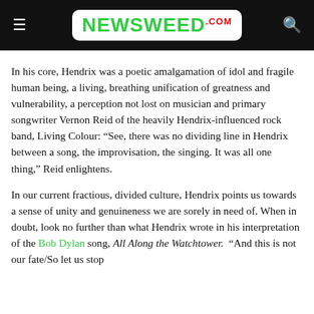NEWSWEED.COM
In his core, Hendrix was a poetic amalgamation of idol and fragile human being, a living, breathing unification of greatness and vulnerability, a perception not lost on musician and primary songwriter Vernon Reid of the heavily Hendrix-influenced rock band, Living Colour: “See, there was no dividing line in Hendrix between a song, the improvisation, the singing. It was all one thing,” Reid enlightens.
In our current fractious, divided culture, Hendrix points us towards a sense of unity and genuineness we are sorely in need of. When in doubt, look no further than what Hendrix wrote in his interpretation of the Bob Dylan song, All Along the Watchtower.  “And this is not our fate/So let us stop